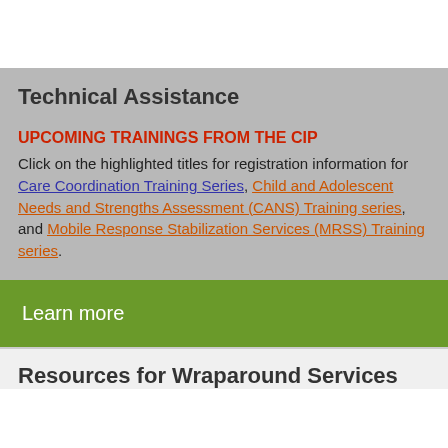Technical Assistance
UPCOMING TRAININGS FROM THE CIP
Click on the highlighted titles for registration information for Care Coordination Training Series, Child and Adolescent Needs and Strengths Assessment (CANS) Training series, and Mobile Response Stabilization Services (MRSS) Training series.
Learn more
Resources for Wraparound Services